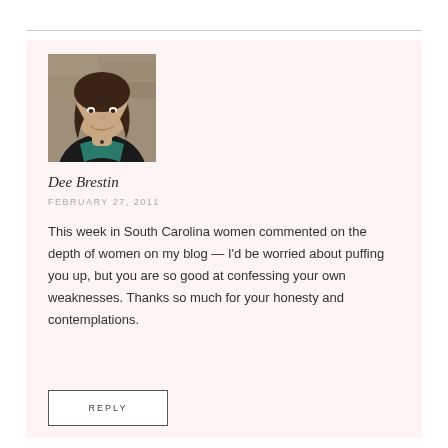[Figure (photo): Portrait photo of a woman with brown hair, smiling, wearing a dark jacket with teal collar, in front of a stone background.]
Dee Brestin
FEBRUARY 27, 2011
This week in South Carolina women commented on the depth of women on my blog — I'd be worried about puffing you up, but you are so good at confessing your own weaknesses. Thanks so much for your honesty and contemplations.
REPLY